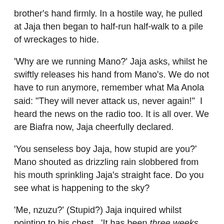brother's hand firmly. In a hostile way, he pulled at Jaja then began to half-run half-walk to a pile of wreckages to hide.
'Why are we running Mano?' Jaja asks, whilst he swiftly releases his hand from Mano's. We do not have to run anymore, remember what Ma Anola said: “They will never attack us, never again!”  I heard the news on the radio too. It is all over. We are Biafra now, Jaja cheerfully declared.
'You senseless boy Jaja, how stupid are you?' Mano shouted as drizzling rain slobbered from his mouth sprinkling Jaja’s straight face. Do you see what is happening to the sky?
'Me, nzuzu?' (Stupid?) Jaja inquired whilst pointing to his chest.  ‘It has been three weeks now Mano,’ he yelled.